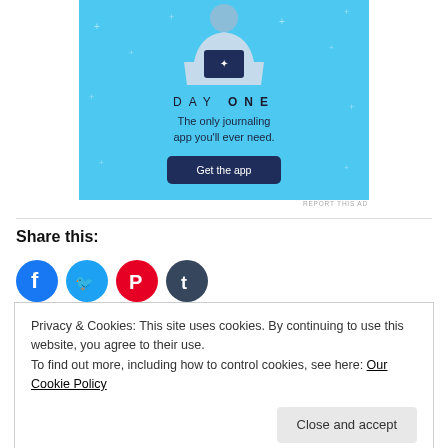[Figure (illustration): Day One journaling app advertisement banner with light blue background. Shows a person holding a phone, text 'DAY ONE', tagline 'The only journaling app you'll ever need.' and a dark blue 'Get the app' button.]
REPORT THIS AD
Share this:
[Figure (illustration): Social media share icons: Facebook (blue circle), Twitter (cyan circle), Pinterest (red circle), Tumblr (dark circle)]
Privacy & Cookies: This site uses cookies. By continuing to use this website, you agree to their use.
To find out more, including how to control cookies, see here: Our Cookie Policy